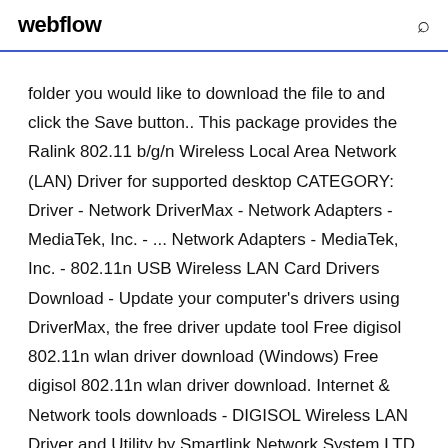webflow
folder you would like to download the file to and click the Save button.. This package provides the Ralink 802.11 b/g/n Wireless Local Area Network (LAN) Driver for supported desktop CATEGORY: Driver - Network DriverMax - Network Adapters - MediaTek, Inc. - ... Network Adapters - MediaTek, Inc. - 802.11n USB Wireless LAN Card Drivers Download - Update your computer's drivers using DriverMax, the free driver update tool Free digisol 802.11n wlan driver download (Windows) Free digisol 802.11n wlan driver download. Internet & Network tools downloads - DIGISOL Wireless LAN Driver and Utility by Smartlink Network System LTD and many more programs